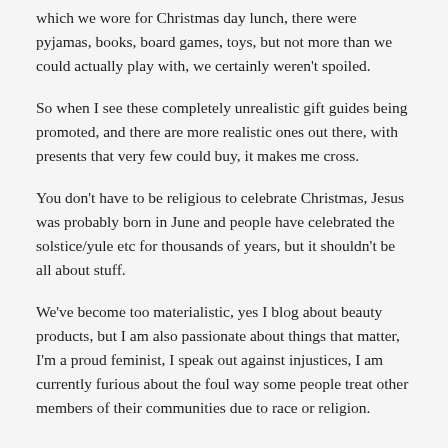which we wore for Christmas day lunch, there were pyjamas, books, board games, toys, but not more than we could actually play with, we certainly weren't spoiled.
So when I see these completely unrealistic gift guides being promoted, and there are more realistic ones out there, with presents that very few could buy, it makes me cross.
You don't have to be religious to celebrate Christmas, Jesus was probably born in June and people have celebrated the solstice/yule etc for thousands of years, but it shouldn't be all about stuff.
We've become too materialistic, yes I blog about beauty products, but I am also passionate about things that matter, I'm a proud feminist, I speak out against injustices, I am currently furious about the foul way some people treat other members of their communities due to race or religion.